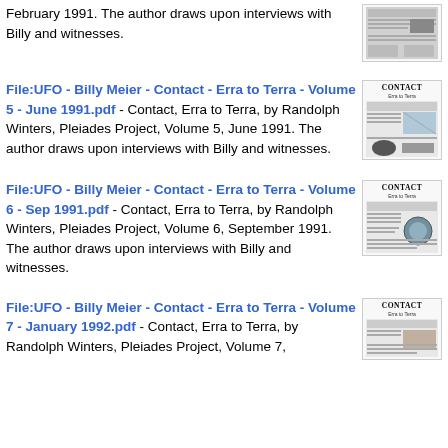February 1991. The author draws upon interviews with Billy and witnesses.
File:UFO - Billy Meier - Contact - Erra to Terra - Volume 5 - June 1991.pdf - Contact, Erra to Terra, by Randolph Winters, Pleiades Project, Volume 5, June 1991. The author draws upon interviews with Billy and witnesses.
File:UFO - Billy Meier - Contact - Erra to Terra - Volume 6 - Sep 1991.pdf - Contact, Erra to Terra, by Randolph Winters, Pleiades Project, Volume 6, September 1991. The author draws upon interviews with Billy and witnesses.
File:UFO - Billy Meier - Contact - Erra to Terra - Volume 7 - January 1992.pdf - Contact, Erra to Terra, by Randolph Winters, Pleiades Project, Volume 7,